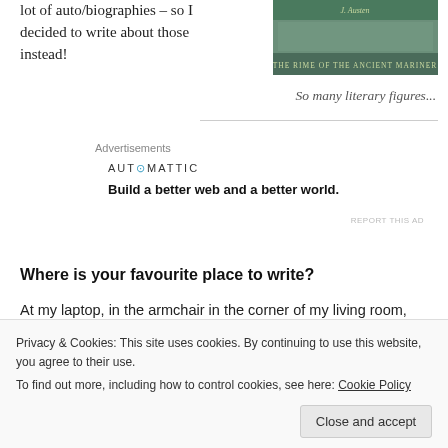lot of auto/biographies – so I decided to write about those instead!
[Figure (photo): Book cover: The Rime of the Ancient Mariner]
So many literary figures...
Advertisements
AUTOMATTIC
Build a better web and a better world.
REPORT THIS AD
Where is your favourite place to write?
At my laptop, in the armchair in the corner of my living room, when no-one else is in the house.
Privacy & Cookies: This site uses cookies. By continuing to use this website, you agree to their use.
To find out more, including how to control cookies, see here: Cookie Policy
Close and accept